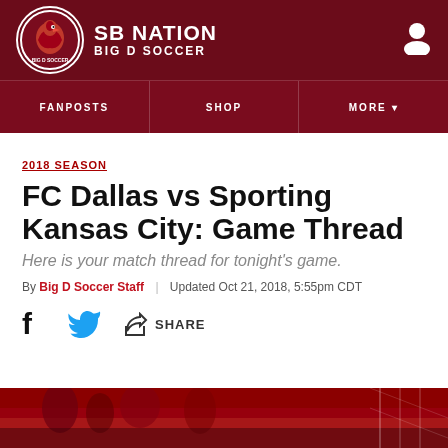SB NATION / BIG D SOCCER
2018 SEASON
FC Dallas vs Sporting Kansas City: Game Thread
Here is your match thread for tonight's game.
By Big D Soccer Staff | Updated Oct 21, 2018, 5:55pm CDT
SHARE